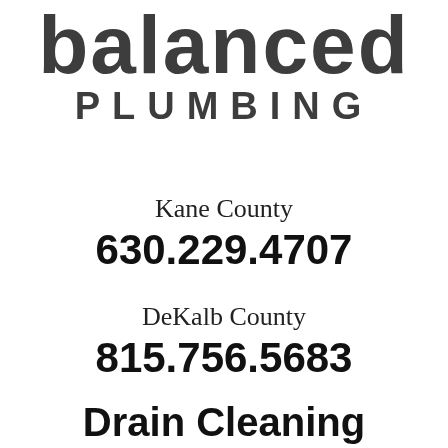[Figure (logo): Balanced Plumbing logo with large stylized 'balanced' text and 'PLUMBING' in spaced capitals below]
Kane County
630.229.4707
DeKalb County
815.756.5683
Drain Cleaning